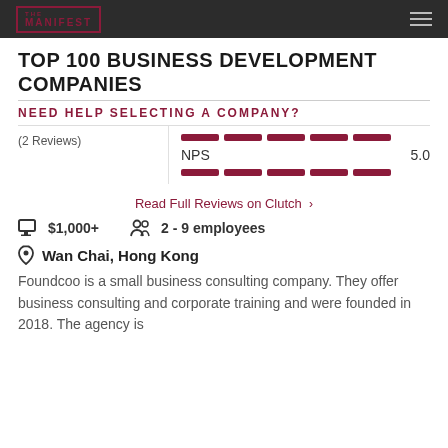THE MANIFEST
TOP 100 BUSINESS DEVELOPMENT COMPANIES
NEED HELP SELECTING A COMPANY?
(2 Reviews)
NPS  5.0
Read Full Reviews on Clutch  >
$1,000+    2 - 9 employees
Wan Chai, Hong Kong
Foundcoo is a small business consulting company. They offer business consulting and corporate training and were founded in 2018. The agency is